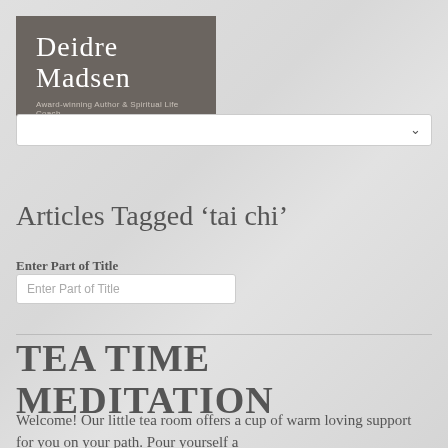[Figure (logo): Deidre Madsen logo with dark gray background, script name text and subtitle 'Award-winning Author & Spiritual Life Coach']
[Figure (screenshot): Dropdown navigation menu selector, white background with down arrow]
Articles Tagged ‘tai chi’
Enter Part of Title
[Figure (screenshot): Text input field with placeholder 'Enter Part of Title']
TEA TIME MEDITATION
Welcome! Our little tea room offers a cup of warm loving support for you on your path. Pour yourself a